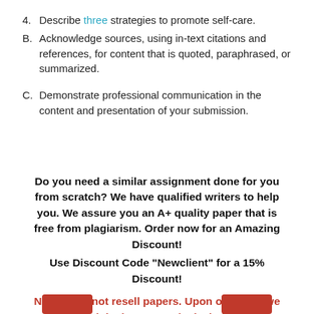4. Describe three strategies to promote self-care.
B. Acknowledge sources, using in-text citations and references, for content that is quoted, paraphrased, or summarized.
C. Demonstrate professional communication in the content and presentation of your submission.
Do you need a similar assignment done for you from scratch? We have qualified writers to help you. We assure you an A+ quality paper that is free from plagiarism. Order now for an Amazing Discount!
Use Discount Code "Newclient" for a 15% Discount!
NB: We do not resell papers. Upon ordering, we do an original paper exclusively for you.